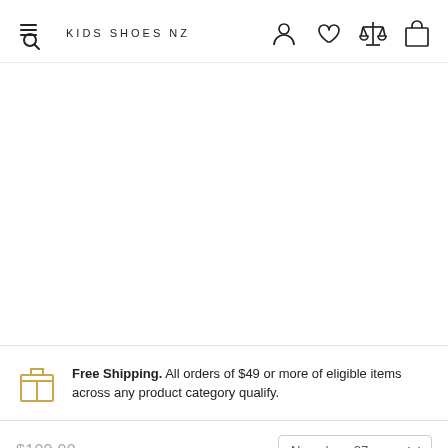KIDS SHOES NZ
Free Shipping. All orders of $49 or more of eligible items across any product category qualify.
$100.00  Navy / eur 27